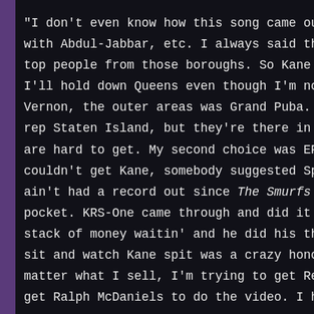"I don't even know how this song came out. It's a freak accident with Abdul-Jabbar, etc. I always said that if I had to do a song top people from those boroughs. So Kane was the pinnacle of... I'll hold down Queens even though I'm not from that era. For Vernon, the outer areas was Grand Puba. Then Long Island rep Staten Island, but they're there in spirit. I had an alternative are hard to get. My second choice was EPMD for LI. So Pa couldn't get Kane, somebody suggested Special Ed, but he said ain't had a record out since The Smurfs was on. Kane came th pocket. KRS-One came through and did it with no problem. T stack of money waitin' and he did his thing. I'm not afraid to a sit and watch Kane spit was a crazy honor. The song is my matter what I sell, I'm trying to get Red Alert to do the int get Ralph McDaniels to do the video. I have a title, but I